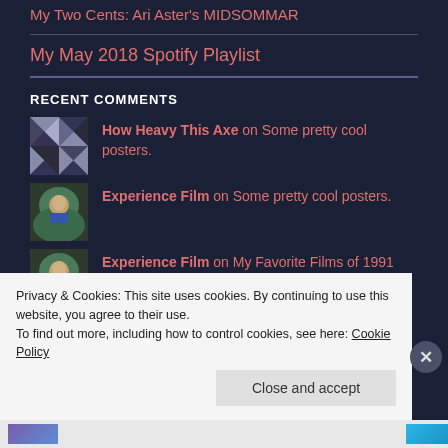My Two Cents: Ari Aster's MIDSOMMAR
My May 2018 Spotify Playlist
RECENT COMMENTS
How Heavy This Axe on Some pretty cool posters.
Experience Film on Some pretty cool posters.
Experience Film on My Favorite Films of 1991
Privacy & Cookies: This site uses cookies. By continuing to use this website, you agree to their use.
To find out more, including how to control cookies, see here: Cookie Policy
Close and accept